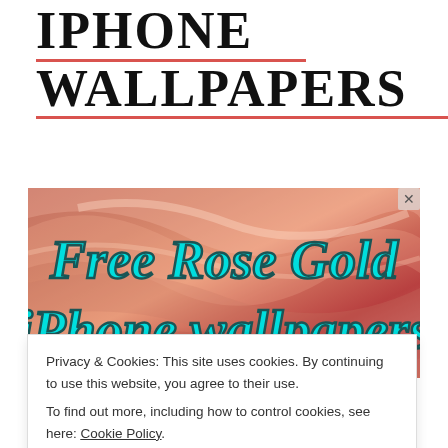IPHONE WALLPAPERS
[Figure (illustration): Rose gold silky fabric background with cyan/turquoise bold italic text reading 'Free Rose Gold iPhone wallpapers']
Privacy & Cookies: This site uses cookies. By continuing to use this website, you agree to their use.
To find out more, including how to control cookies, see here: Cookie Policy
Close and accept